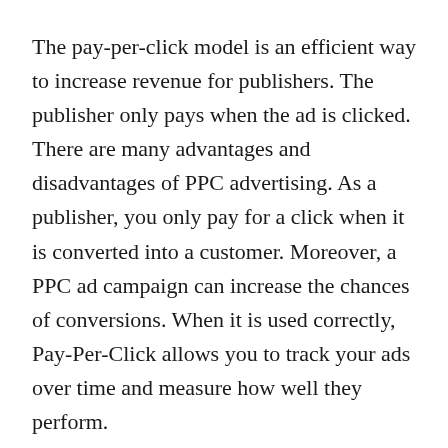The pay-per-click model is an efficient way to increase revenue for publishers. The publisher only pays when the ad is clicked. There are many advantages and disadvantages of PPC advertising. As a publisher, you only pay for a click when it is converted into a customer. Moreover, a PPC ad campaign can increase the chances of conversions. When it is used correctly, Pay-Per-Click allows you to track your ads over time and measure how well they perform.
PPC campaigns can be extremely effective, especially when you can select the right keywords. However, there are some disadvantages of PPC advertising. Unlike organic